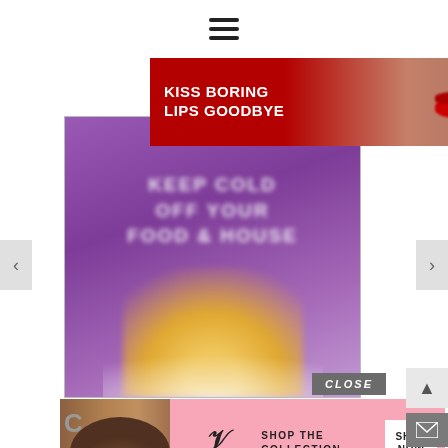[Figure (screenshot): Hamburger menu icon (three horizontal lines) centered at top of page]
[Figure (infographic): Macy's advertisement banner: red background, 'KISS BORING LIPS GOODBYE' text, woman's face with red lips, 'SHOP NOW' button, Macy's star logo]
[Figure (screenshot): Main content area showing a purple background image from pinchofyum.com with blurred white text and a blonde woman's hair in the foreground]
[Figure (infographic): Victoria's Secret advertisement at bottom: pink background, woman photo, VS logo, 'SHOP THE COLLECTION' text, 'SHOP NOW' button]
CLOSE
C